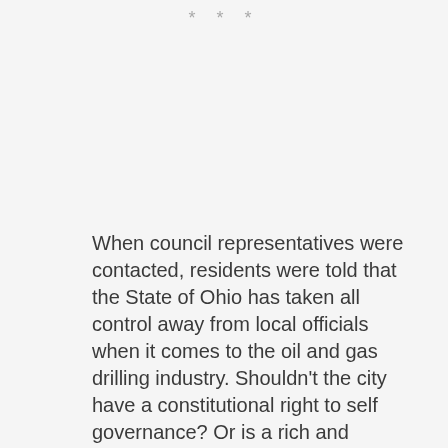* * *
When council representatives were contacted, residents were told that the State of Ohio has taken all control away from local officials when it comes to the oil and gas drilling industry. Shouldn't the city have a constitutional right to self governance? Or is a rich and powerful industry able to usurp that right by lobbying for or purchasing control of our government? Once they control the government, it is easy to pass